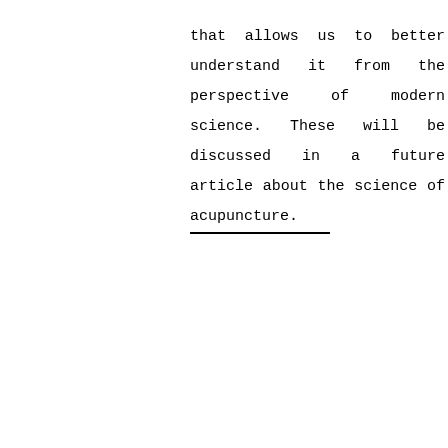that allows us to better understand it from the perspective of modern science. These will be discussed in a future article about the science of acupuncture.